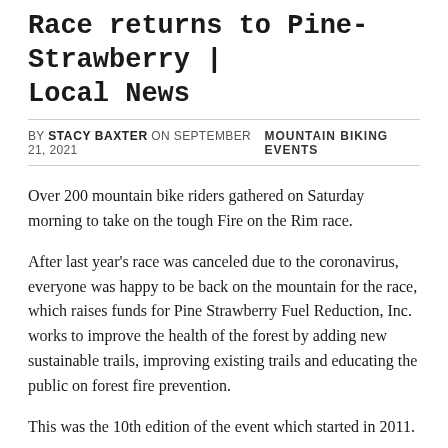Race returns to Pine-Strawberry | Local News
BY STACY BAXTER ON SEPTEMBER 21, 2021   MOUNTAIN BIKING EVENTS
Over 200 mountain bike riders gathered on Saturday morning to take on the tough Fire on the Rim race.
After last year's race was canceled due to the coronavirus, everyone was happy to be back on the mountain for the race, which raises funds for Pine Strawberry Fuel Reduction, Inc. works to improve the health of the forest by adding new sustainable trails, improving existing trails and educating the public on forest fire prevention.
This was the 10th edition of the event which started in 2011.
The riders took off in three stages, encouraged and coaxed by